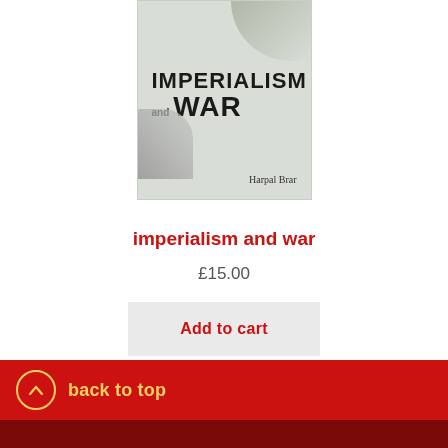[Figure (illustration): Book cover of 'Imperialism and War' by Harpal Brar. Light grey-green background with bold black uppercase text 'IMPERIALISM and WAR'. Decorative photographic elements including a bird at top and a figure with a gun at bottom left. Author name 'Harpal Brar' at bottom right.]
imperialism and war
£15.00
Add to cart
back to top